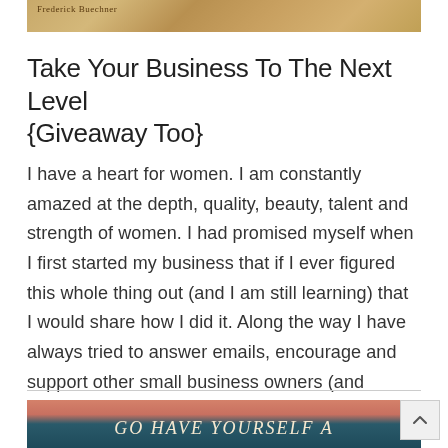[Figure (photo): Partial book cover image with textured beige/tan background and author text 'Frederick Buechner' visible]
Take Your Business To The Next Level {Giveaway Too}
I have a heart for women. I am constantly amazed at the depth, quality, beauty, talent and strength of women. I had promised myself when I first started my business that if I ever figured this whole thing out (and I am still learning) that I would share how I did it. Along the way I have always tried to answer emails, encourage and support other small business owners (and dreamers). I had questions at the beginning and I wish ...
[Figure (photo): Bottom portion of another blog post image with teal/dark background and decorative text 'Go Have Yourself A' in vintage style lettering]